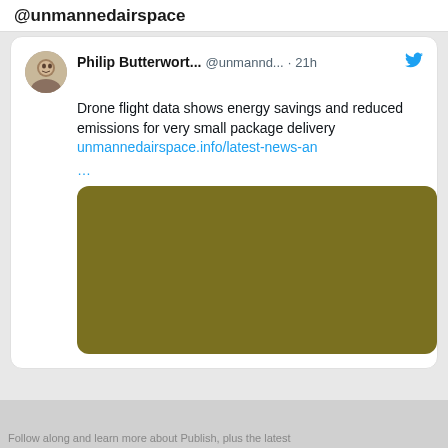@unmannedairspace
Philip Butterwort... @unmannd... · 21h
Drone flight data shows energy savings and reduced emissions for very small package delivery unmannedairspace.info/latest-news-an
...
[Figure (photo): Olive/dark yellow rectangular image with rounded corners, likely a thumbnail for an article about drone delivery energy savings.]
Follow along and learn more about Publish, plus the latest